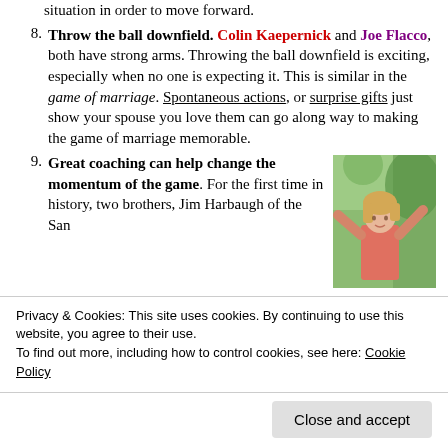situation in order to move forward.
8. Throw the ball downfield. Colin Kaepernick and Joe Flacco, both have strong arms. Throwing the ball downfield is exciting, especially when no one is expecting it. This is similar in the game of marriage. Spontaneous actions, or surprise gifts just show your spouse you love them can go along way to making the game of marriage memorable.
9. Great coaching can help change the momentum of the game. For the first time in history, two brothers, Jim Harbaugh of the San...
[Figure (photo): Outdoor photo of a woman with blonde hair, arms raised, wearing a pink/salmon top, trees in background]
Privacy & Cookies: This site uses cookies. By continuing to use this website, you agree to their use.
To find out more, including how to control cookies, see here: Cookie Policy
Close and accept